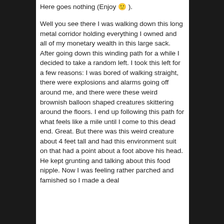Here goes nothing (Enjoy 🙂 ).
Well you see there I was walking down this long metal corridor holding everything I owned and all of my monetary wealth in this large sack. After going down this winding path for a while I decided to take a random left. I took this left for a few reasons: I was bored of walking straight, there were explosions and alarms going off around me, and there were these weird brownish balloon shaped creatures skittering around the floors. I end up following this path for what feels like a mile until I come to this dead end. Great. But there was this weird creature about 4 feet tall and had this environment suit on that had a point about a foot above his head. He kept grunting and talking about this food nipple. Now I was feeling rather parched and famished so I made a deal